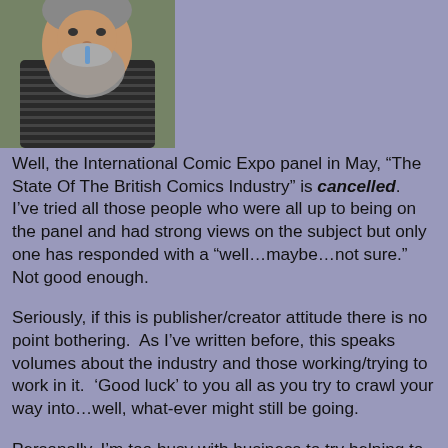[Figure (photo): Photo of a man with a grey beard and moustache wearing a striped shirt, photographed from below/side angle]
Well, the International Comic Expo panel in May, “The State Of The British Comics Industry” is cancelled.
I’ve tried all those people who were all up to being on the panel and had strong views on the subject but only one has responded with a “well…maybe…not sure.”  Not good enough.

Seriously, if this is publisher/creator attitude there is no point bothering.  As I’ve written before, this speaks volumes about the industry and those working/trying to work in it.  ‘Good luck’ to you all as you try to crawl your way into…well, what-ever might still be going.

Personally, I’m too busy with business to try helping to save an industry full of people who just want to live off past glory (if not) and others who...